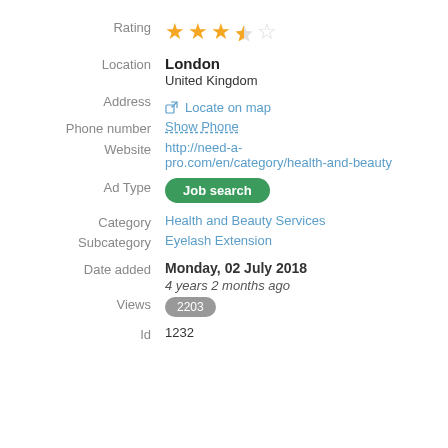Rating: 3.5 stars out of 5
Location: London, United Kingdom
Address: Locate on map
Phone number: Show Phone
Website: http://need-a-pro.com/en/category/health-and-beauty
Ad Type: Job search
Category: Health and Beauty Services
Subcategory: Eyelash Extension
Date added: Monday, 02 July 2018 — 4 years 2 months ago
Views: 2203
Id: 1232